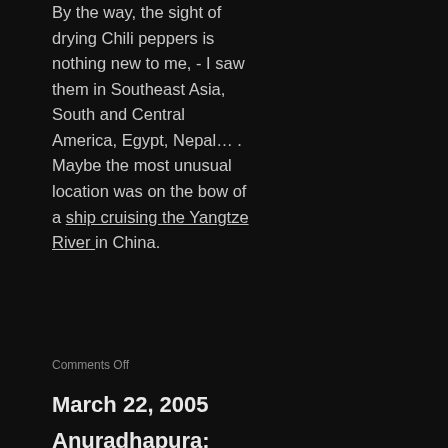By the way, the sight of drying Chili peppers is nothing new to me, - I saw them in Southeast Asia, South and Central America, Egypt, Nepal… . Maybe the most unusual location was on the bow of a ship cruising the Yangtze River in China.
Comments Off
March 22, 2005
Anuradhapura: